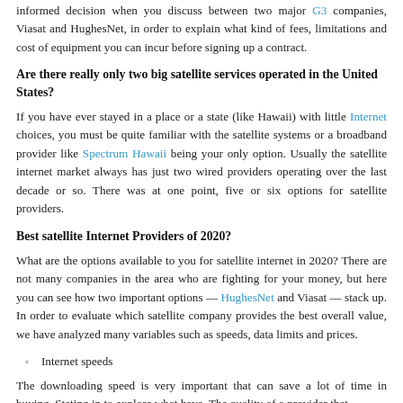informed decision when you discuss between two major G3 companies, Viasat and HughesNet, in order to explain what kind of fees, limitations and cost of equipment you can incur before signing up a contract.
Are there really only two big satellite services operated in the United States?
If you have ever stayed in a place or a state (like Hawaii) with little Internet choices, you must be quite familiar with the satellite systems or a broadband provider like Spectrum Hawaii being your only option. Usually the satellite internet market always has just two wired providers operating over the last decade or so. There was at one point, five or six options for satellite providers.
Best satellite Internet Providers of 2020?
What are the options available to you for satellite internet in 2020? There are not many companies in the area who are fighting for your money, but here you can see how two important options — HughesNet and Viasat — stack up. In order to evaluate which satellite company provides the best overall value, we have analyzed many variables such as speeds, data limits and prices.
Internet speeds
The downloading speed is very important that can save a lot of time in buying. Stating in to explore what have. The quality of a provider that